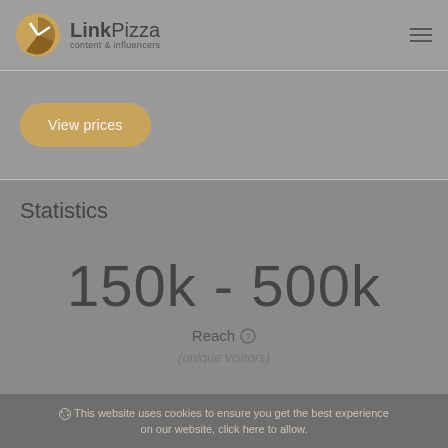LinkPizza content & influencers
View prices
Statistics
150k - 500k
Reach (unique visitors)
This website uses cookies to ensure you get the best experience on our website, click here to allow.